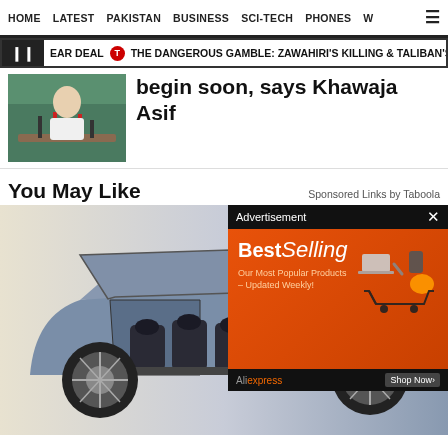HOME  LATEST  PAKISTAN  BUSINESS  SCI-TECH  PHONES  W ☰
▐  EAR DEAL  T  THE DANGEROUS GAMBLE: ZAWAHIRI'S KILLING & TALIBAN'S BLAME
begin soon, says Khawaja Asif
[Figure (photo): Person speaking at podium with microphones, green background]
You May Like
Sponsored Links by Taboola
[Figure (photo): Luxury SUV concept car with doors open showing interior seats, silver/blue exterior]
[Figure (advertisement): BestSelling advertisement from AliExpress with orange background showing products in shopping cart]